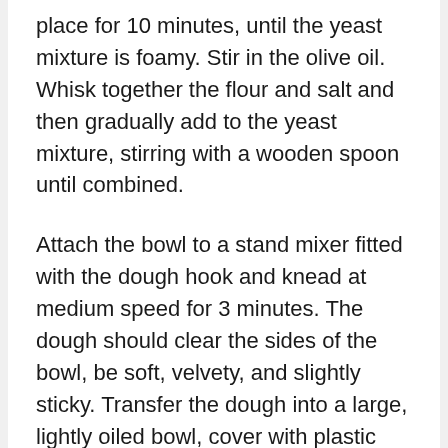place for 10 minutes, until the yeast mixture is foamy. Stir in the olive oil. Whisk together the flour and salt and then gradually add to the yeast mixture, stirring with a wooden spoon until combined.
Attach the bowl to a stand mixer fitted with the dough hook and knead at medium speed for 3 minutes. The dough should clear the sides of the bowl, be soft, velvety, and slightly sticky. Transfer the dough into a large, lightly oiled bowl, cover with plastic wrap and place into a warm place to rise, for about 2 hours or until doubled. After this, you can punch the dough down and keep it covered in the refrigerator for 2 days. Bring to room temperature before forming.
Sauté the onions in butter over low heat until they